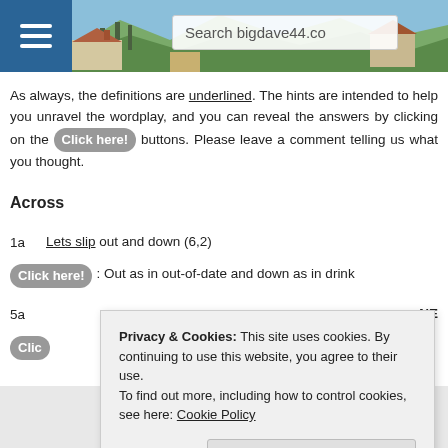[Figure (screenshot): Website header banner with landscape photo, hamburger menu icon, and search box showing 'Search bigdave44.co']
As always, the definitions are underlined. The hints are intended to help you unravel the wordplay, and you can reveal the answers by clicking on the Click here! buttons. Please leave a comment telling us what you thought.
Across
1a   Lets slip out and down (6,2)
Click here!: Out as in out-of-date and down as in drink
5a
Clic ... NE
Privacy & Cookies: This site uses cookies. By continuing to use this website, you agree to their use.
To find out more, including how to control cookies, see here: Cookie Policy
Close and accept
[Figure (photo): Bottom strip showing playing cards with hearts]